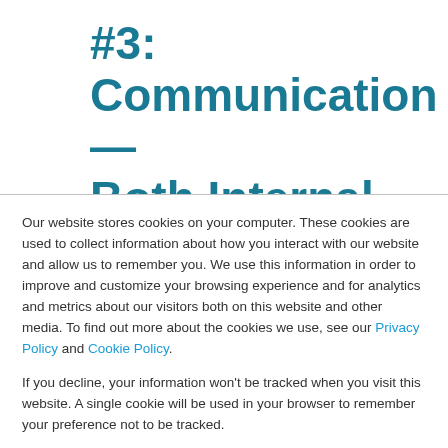#3: Communication—Both Internal and External Will
Our website stores cookies on your computer. These cookies are used to collect information about how you interact with our website and allow us to remember you. We use this information in order to improve and customize your browsing experience and for analytics and metrics about our visitors both on this website and other media. To find out more about the cookies we use, see our Privacy Policy and Cookie Policy.
If you decline, your information won't be tracked when you visit this website. A single cookie will be used in your browser to remember your preference not to be tracked.